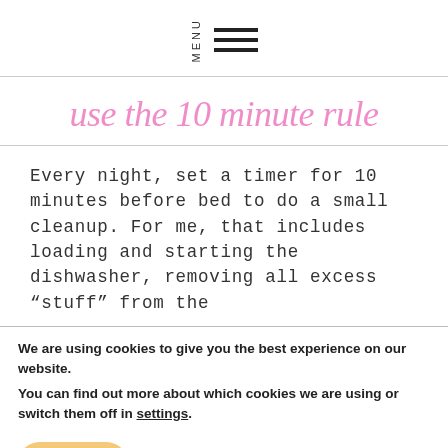MENU
use the 10 minute rule
Every night, set a timer for 10 minutes before bed to do a small cleanup. For me, that includes loading and starting the dishwasher, removing all excess “stuff” from the
We are using cookies to give you the best experience on our website.
You can find out more about which cookies we are using or switch them off in settings.
Accept